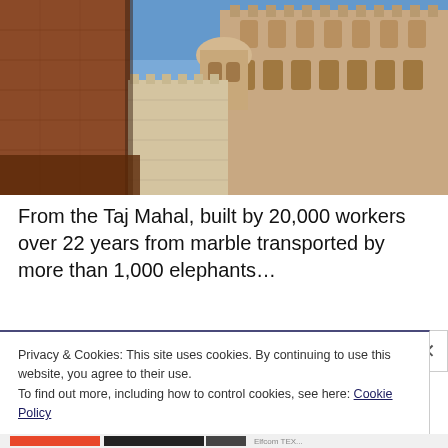[Figure (photo): Photograph of an Indian fort (resembling Mehrangarh Fort or similar Rajasthani fortification) shot from below looking up, showing massive sandstone walls, ornate balconies and turrets against a blue sky]
From the Taj Mahal, built by 20,000 workers over 22 years from marble transported by more than 1,000 elephants…
Privacy & Cookies: This site uses cookies. By continuing to use this website, you agree to their use.
To find out more, including how to control cookies, see here: Cookie Policy